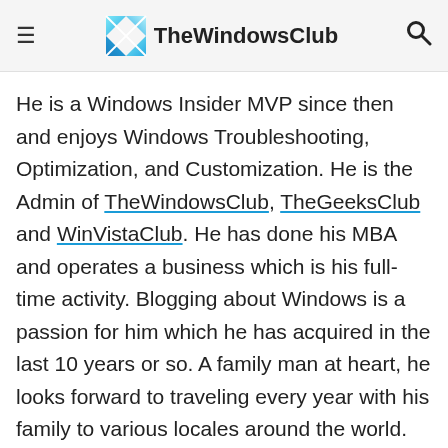TheWindowsClub
He is a Windows Insider MVP since then and enjoys Windows Troubleshooting, Optimization, and Customization. He is the Admin of TheWindowsClub, TheGeeksClub and WinVistaClub. He has done his MBA and operates a business which is his full-time activity. Blogging about Windows is a passion for him which he has acquired in the last 10 years or so. A family man at heart, he looks forward to traveling every year with his family to various locales around the world. You can see all his posts here. Connect with him on Twitter or Facebook.